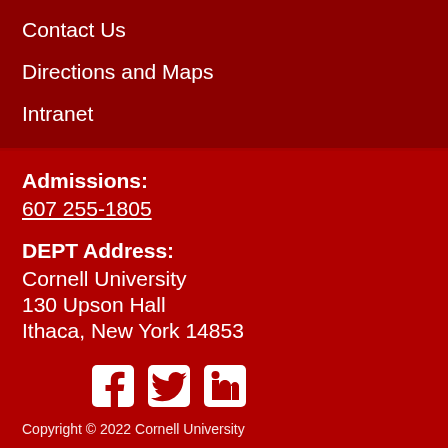Contact Us
Directions and Maps
Intranet
Admissions: 607 255-1805
DEPT Address: Cornell University 130 Upson Hall Ithaca, New York 14853
[Figure (infographic): Social media icons: Facebook, Twitter, LinkedIn]
Copyright © 2022 Cornell University